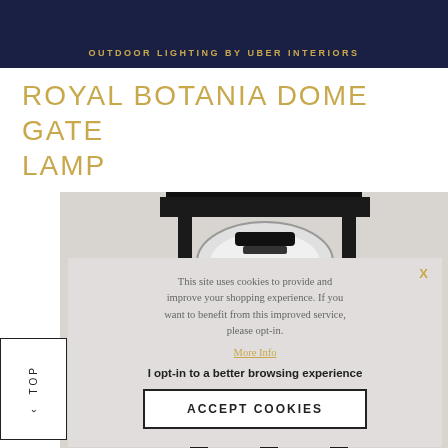OUTDOOR LIGHTING BY UBER INTERIORS
ROYAL BOTANIA DOME GATE LAMP
[Figure (photo): Outdoor gate lamp with black metal square frame structure and glass globe, photographed from front/top angle against light background.]
TOP
This site uses cookies to provide and improve your shopping experience. If you want to benefit from this improved service, please opt-in.
More Info
I opt-in to a better browsing experience
ACCEPT COOKIES